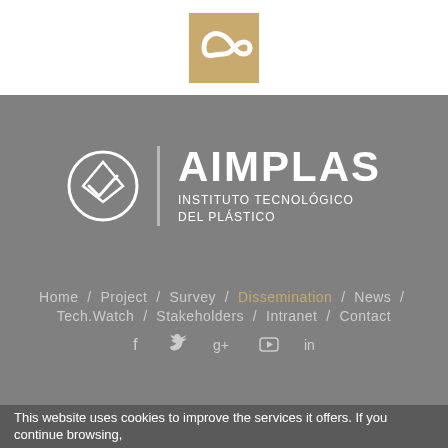[Figure (logo): Decorative infinity/loop logo in beige/tan color on white background at top of page]
[Figure (logo): AIMPLAS Instituto Tecnológico del Plástico logo - circular emblem with diamond shape inside, white on gray background, with text AIMPLAS INSTITUTO TECNOLÓGICO DEL PLÁSTICO]
Home / Project / Survey / Dissemination / News / Tech.Watch / Stakeholders / Intranet / Contact
Social media icons: Facebook, Twitter, Google+, YouTube, LinkedIn
This website uses cookies to improve the services it offers. If you continue browsing,